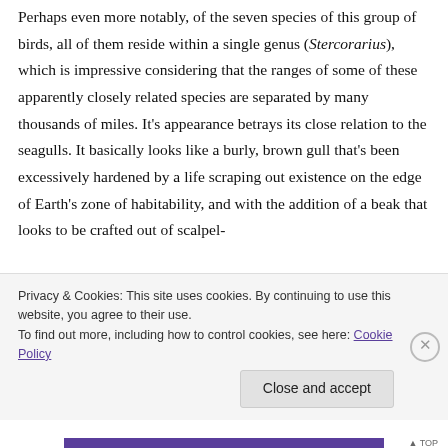Perhaps even more notably, of the seven species of this group of birds, all of them reside within a single genus (Stercorarius), which is impressive considering that the ranges of some of these apparently closely related species are separated by many thousands of miles. It's appearance betrays its close relation to the seagulls. It basically looks like a burly, brown gull that's been excessively hardened by a life scraping out existence on the edge of Earth's zone of habitability, and with the addition of a beak that looks to be crafted out of scalpel-
Privacy & Cookies: This site uses cookies. By continuing to use this website, you agree to their use.
To find out more, including how to control cookies, see here: Cookie Policy
Close and accept